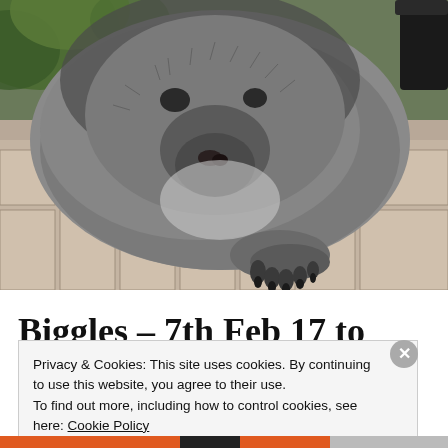[Figure (photo): Close-up photo of a grey guinea pig (Biggles) sitting on a decorative tiled patio surface with visible claws and fur detail. Green foliage and a dark pot visible in background.]
Biggles – 7th Feb 17 to 16th
Privacy & Cookies: This site uses cookies. By continuing to use this website, you agree to their use.
To find out more, including how to control cookies, see here: Cookie Policy
Close and accept